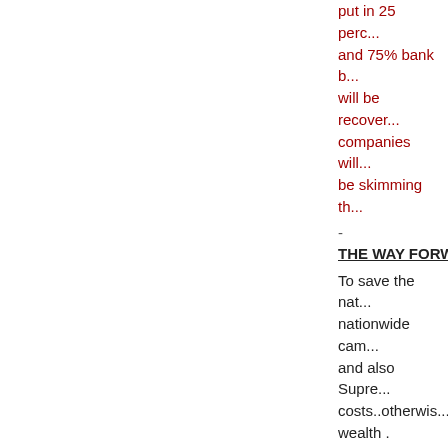put in 25 perc... and 75% bank b... will be recover... companies will... be skimming th...
-
THE WAY FORW...
To save the nat... nationwide cam... and also Supre... costs..otherwis... wealth .
Billions of Dollars Sto... Sharif & Khwaja Asif,...
No Comments
NAWAZ SHARIF... FRAUDLY ELEC...
Posted by admin in...